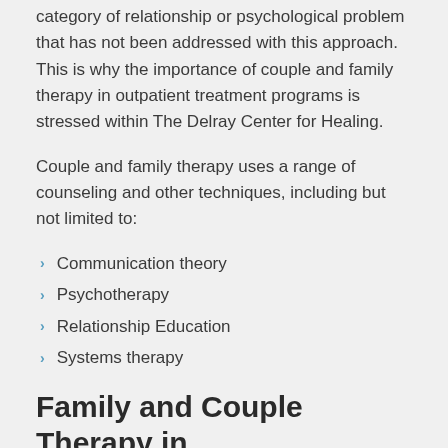category of relationship or psychological problem that has not been addressed with this approach.  This is why the importance of couple and family therapy in outpatient treatment programs is stressed within The Delray Center for Healing.
Couple and family therapy uses a range of counseling and other techniques, including but not limited to:
Communication theory
Psychotherapy
Relationship Education
Systems therapy
Family and Couple Therapy in South Florida
Although there are a range of...